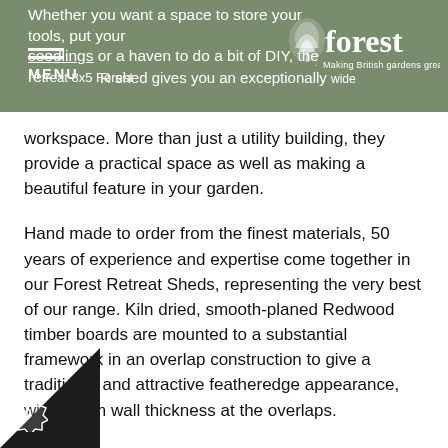Whether you want a space to store your tools, put your seedlings or a haven to do a bit of DIY, the Retreat 8x5 Forest RMENU shed gives you an exceptionally [Forest - Making British gardens great]
workspace. More than just a utility building, they provide a practical space as well as making a beautiful feature in your garden.
Hand made to order from the finest materials, 50 years of experience and expertise come together in our Forest Retreat Sheds, representing the very best of our range. Kiln dried, smooth-planed Redwood timber boards are mounted to a substantial framework in an overlap construction to give a traditional and attractive featheredge appearance, with 20mm wall thickness at the overlaps.
The steeply pitched roof gives the building a distinct style and offers plenty of head room inside. Shelves can be readily inserted at the back of the shed, making full use of the roof space as a place for storage. The floor and roof use long-lasting, smooth-planed and pressure treated, Tongue